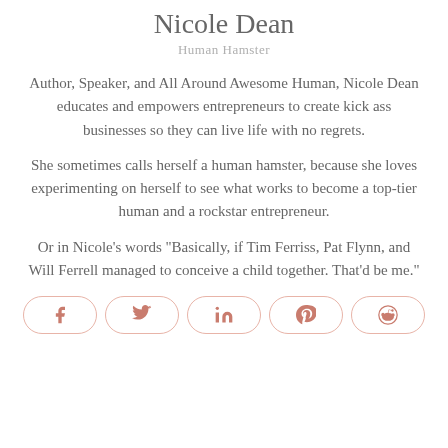Nicole Dean
Human Hamster
Author, Speaker, and All Around Awesome Human, Nicole Dean educates and empowers entrepreneurs to create kick ass businesses so they can live life with no regrets.
She sometimes calls herself a human hamster, because she loves experimenting on herself to see what works to become a top-tier human and a rockstar entrepreneur.
Or in Nicole's words "Basically, if Tim Ferriss, Pat Flynn, and Will Ferrell managed to conceive a child together. That'd be me."
[Figure (other): Social share buttons row: Facebook, Twitter, LinkedIn, Pinterest, Reddit icons in rounded pill buttons with pinkish border]